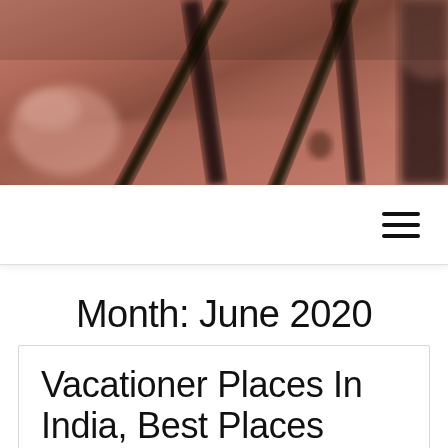[Figure (photo): Blurry photograph of a room interior with warm terracotta/reddish-brown tones, showing what appears to be furniture with dark metal frame structural elements (diagonal and vertical bars), shot from close up with shallow depth of field]
≡
Month: June 2020
Vacationer Places In India, Best Places